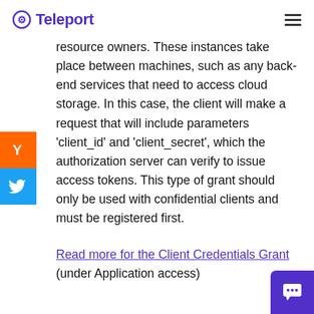Teleport
resource owners. These instances take place between machines, such as any back-end services that need to access cloud storage. In this case, the client will make a request that will include parameters 'client_id' and 'client_secret', which the authorization server can verify to issue access tokens. This type of grant should only be used with confidential clients and must be registered first.
Read more for the Client Credentials Grant
(under Application access)